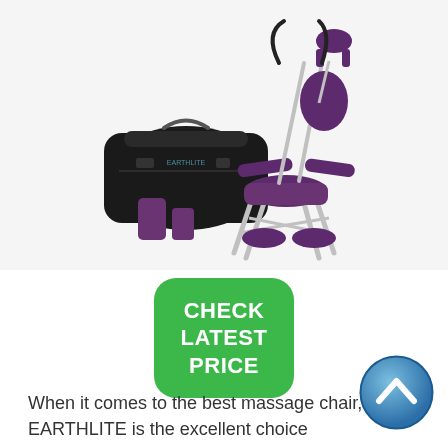[Figure (photo): Purple portable massage chair with silver aluminum frame, black carry bag, and purple foam block accessories on a white background]
[Figure (other): Green rounded rectangle button with white bold text reading CHECK LATEST PRICE]
[Figure (other): Blue circular scroll-up button with a white chevron/arrow pointing upward]
When it comes to the best massage chair, EARTHLITE is the excellent choice